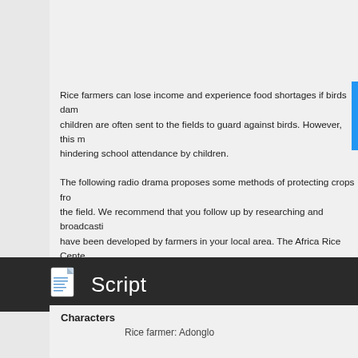Rice farmers can lose income and experience food shortages if birds dam... children are often sent to the fields to guard against birds. However, this m... hindering school attendance by children.
The following radio drama proposes some methods of protecting crops fro... the field. We recommend that you follow up by researching and broadcasti... have been developed by farmers in your local area. The Africa Rice Cente... would be interested in the results of your research, which it hopes to use t... receive information from your farmers about creative ways to reduce bird d... AfricaRice at f.houinsou@cgiar.org. Another script in this package (89.10)... fields, is also about scaring birds away from rice fields.
Two ways to use this script are by simply adapting this drama for your aud... own mini-drama on scaring birds in your area.
Script
Characters
Rice farmer: Adonglo